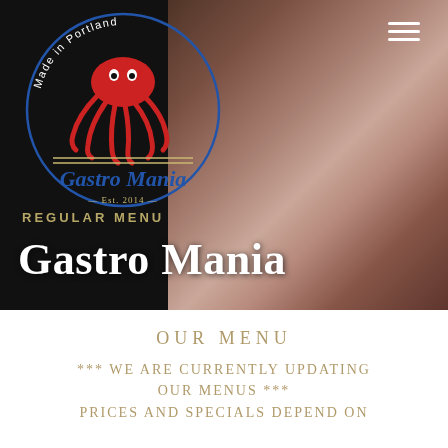[Figure (screenshot): Gastro Mania restaurant website screenshot showing hero banner with logo, hamburger menu icon, blurred food photo background, and menu update notice below]
Gastro Mania
REGULAR MENU
OUR MENU
*** WE ARE CURRENTLY UPDATING OUR MENUS ***
PRICES AND SPECIALS DEPEND ON